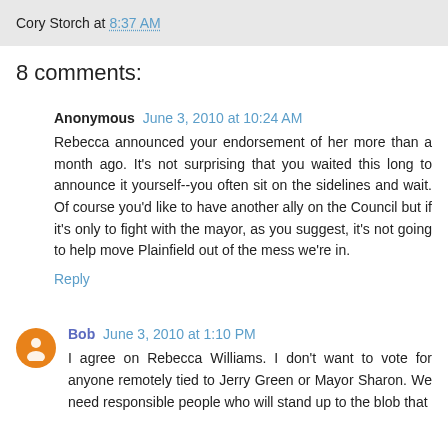Cory Storch at 8:37 AM
8 comments:
Anonymous June 3, 2010 at 10:24 AM
Rebecca announced your endorsement of her more than a month ago. It's not surprising that you waited this long to announce it yourself--you often sit on the sidelines and wait. Of course you'd like to have another ally on the Council but if it's only to fight with the mayor, as you suggest, it's not going to help move Plainfield out of the mess we're in.
Reply
Bob June 3, 2010 at 1:10 PM
I agree on Rebecca Williams. I don't want to vote for anyone remotely tied to Jerry Green or Mayor Sharon. We need responsible people who will stand up to the blob that